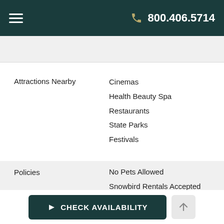800.406.5714
Attractions Nearby
Cinemas
Health Beauty Spa
Restaurants
State Parks
Festivals
Policies
No Pets Allowed
Snowbird Rentals Accepted
Family Friendly
No Guests Under 25 w/o Parent
Minimum Night Stay and Turn Day Restrictions May Apply